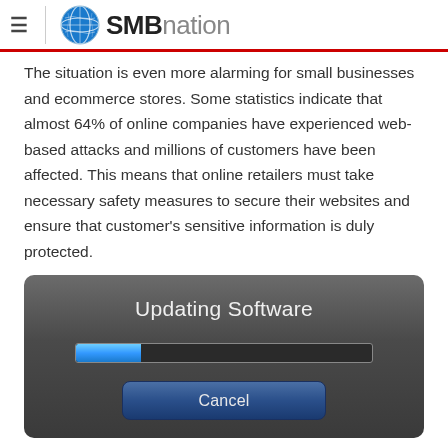SMBnation
The situation is even more alarming for small businesses and ecommerce stores. Some statistics indicate that almost 64% of online companies have experienced web-based attacks and millions of customers have been affected. This means that online retailers must take necessary safety measures to secure their websites and ensure that customer's sensitive information is duly protected.
[Figure (screenshot): A macOS/iOS style dialog box with dark gray gradient background showing 'Updating Software' title, a progress bar partially filled with blue, and a 'Cancel' button at the bottom.]